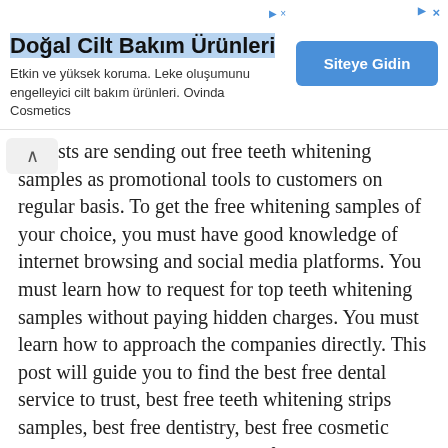[Figure (other): Advertisement banner for 'Doğal Cilt Bakım Ürünleri' (Natural Skin Care Products) with a blue button 'Siteye Gidin' and ad icons]
dentists are sending out free teeth whitening samples as promotional tools to customers on regular basis. To get the free whitening samples of your choice, you must have good knowledge of internet browsing and social media platforms. You must learn how to request for top teeth whitening samples without paying hidden charges. You must learn how to approach the companies directly. This post will guide you to find the best free dental service to trust, best free teeth whitening strips samples, best free dentistry, best free cosmetic dental procedure samples, best free oral care samples, best free crest whitening samples, best quality free dental implant samples, best free teeth whitening samples, top free opalescence whitening samples, best free zoom teeth whitening samples, best free professional teeth whitening samples,